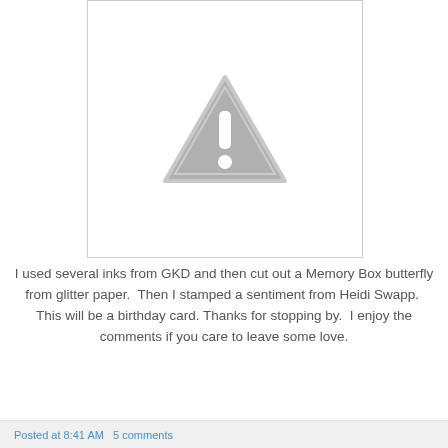[Figure (illustration): A broken image placeholder showing a grey warning triangle with exclamation mark on a white background with light grey border.]
I used several inks from GKD and then cut out a Memory Box butterfly from glitter paper.  Then I stamped a sentiment from Heidi Swapp.  This will be a birthday card.  Thanks for stopping by.  I enjoy the comments if you care to leave some love.
Posted at 8:41 AM   5 comments